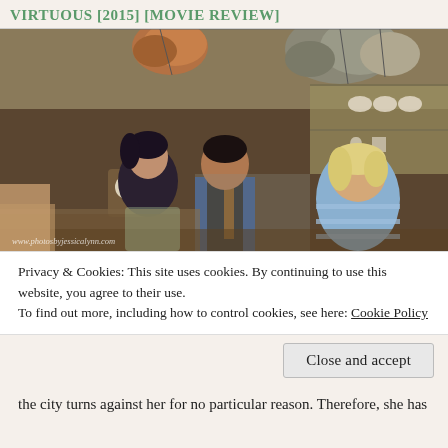VIRTUOUS [2015] [MOVIE REVIEW]
[Figure (photo): Three people in a kitchen scene — a dark-haired woman on the left, a man in the center wearing a blue shirt and vest, and a blonde woman in a blue striped sweater on the right. Copper and stainless pots hang overhead. Watermark: www.photosbyjessicalynn.com]
Privacy & Cookies: This site uses cookies. By continuing to use this website, you agree to their use.
To find out more, including how to control cookies, see here: Cookie Policy
Close and accept
the city turns against her for no particular reason. Therefore, she has